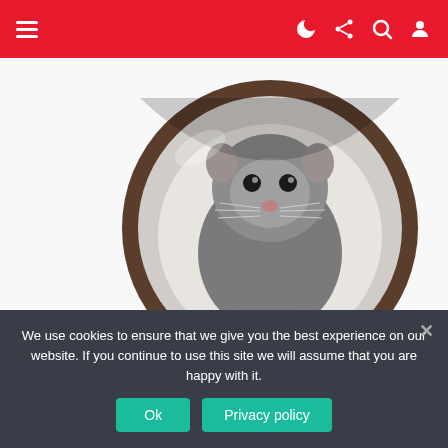Navigation header with hamburger menu and icons (dark mode, share, search, user)
[Figure (photo): A rat peering through a circular glass or tube opening, on a white background. The rat is gray with visible whiskers and front paws.]
1.4k Views  50 Votes
Eye of Omniscience – Quasar RAT
by Admin • 2 years ago
We use cookies to ensure that we give you the best experience on our website. If you continue to use this site we will assume that you are happy with it.